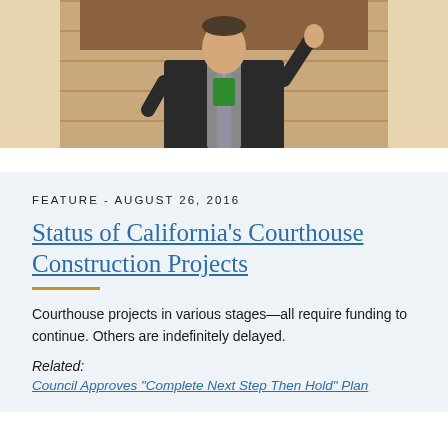[Figure (photo): A man in a dark suit with a lanyard/badge raising his hand, appearing to be speaking or presenting, with wooden paneling visible in the background.]
FEATURE - AUGUST 26, 2016
Status of California's Courthouse Construction Projects
Courthouse projects in various stages—all require funding to continue. Others are indefinitely delayed.
Related:
Council Approves “Complete Next Step Then Hold” Plan